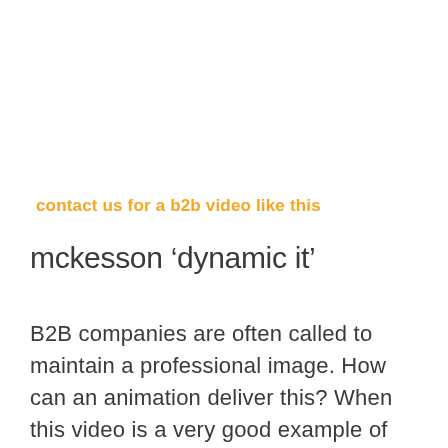contact us for a b2b video like this
mckesson ‘dynamic it’
B2B companies are often called to maintain a professional image. How can an animation deliver this? When this video is a very good example of this.